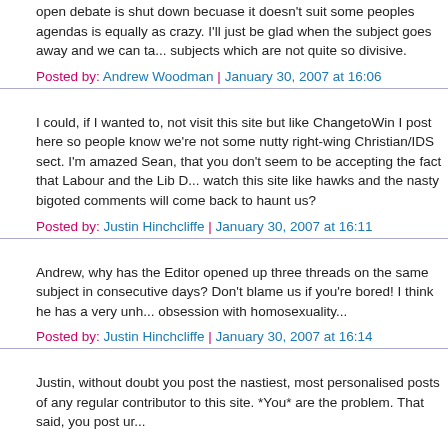open debate is shut down becuase it doesn't suit some peoples agendas is equally as crazy. I'll just be glad when the subject goes away and we can ta... subjects which are not quite so divisive.
Posted by: Andrew Woodman | January 30, 2007 at 16:06
I could, if I wanted to, not visit this site but like ChangetoWin I post here so people know we're not some nutty right-wing Christian/IDS sect. I'm amazed Sean, that you don't seem to be accepting the fact that Labour and the Lib D... watch this site like hawks and the nasty bigoted comments will come back to haunt us?
Posted by: Justin Hinchcliffe | January 30, 2007 at 16:11
Andrew, why has the Editor opened up three threads on the same subject in consecutive days? Don't blame us if you're bored! I think he has a very unh... obsession with homosexuality...
Posted by: Justin Hinchcliffe | January 30, 2007 at 16:14
Justin, without doubt you post the nastiest, most personalised posts of any regular contributor to this site. *You* are the problem. That said, you post ur...